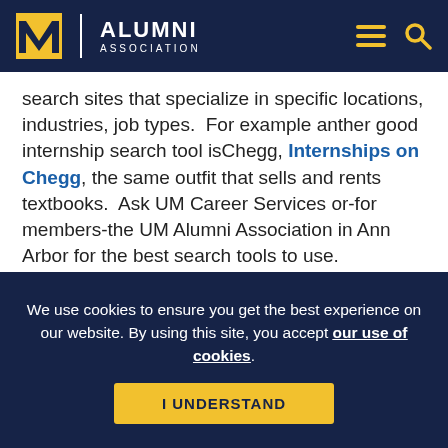M ALUMNI ASSOCIATION
search sites that specialize in specific locations, industries, job types.  For example anther good internship search tool isChegg, Internships on Chegg, the same outfit that sells and rents textbooks.  Ask UM Career Services or-for members-the UM Alumni Association in Ann Arbor for the best search tools to use.
We use cookies to ensure you get the best experience on our website. By using this site, you accept our use of cookies.
I UNDERSTAND